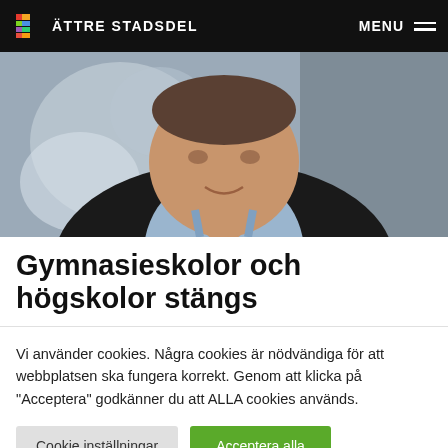BÄTTRE STADSDEL — MENU
[Figure (photo): Close-up photo of a man in a dark jacket and light blue shirt, smiling slightly, with a blurred background]
Gymnasieskolor och högskolor stängs
Vi använder cookies. Några cookies är nödvändiga för att webbplatsen ska fungera korrekt. Genom att klicka på "Acceptera" godkänner du att ALLA cookies används.
Cookie inställningar  |  Acceptera alla